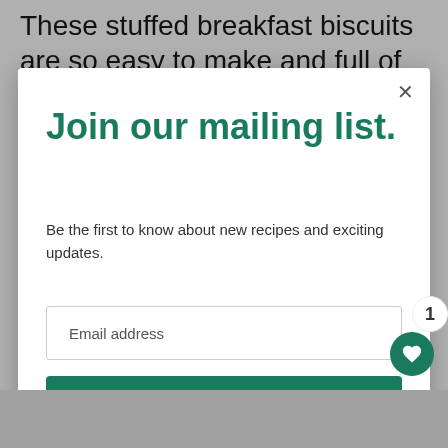These stuffed breakfast biscuits are so easy to make and full of your favorite
Join our mailing list.
Be the first to know about new recipes and exciting updates.
Email address
Subscribe